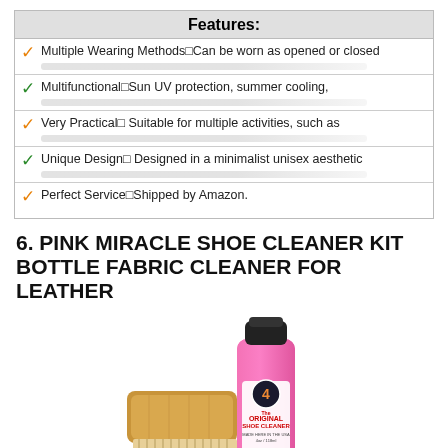| Features: |
| --- |
| ✓ Multiple Wearing Methods□Can be worn as opened or closed |
| ✓ Multifunctional□Sun UV protection, summer cooling, |
| ✓ Very Practical□ Suitable for multiple activities, such as |
| ✓ Unique Design□ Designed in a minimalist unisex aesthetic |
| ✓ Perfect Service□Shipped by Amazon. |
6. PINK MIRACLE SHOE CLEANER KIT BOTTLE FABRIC CLEANER FOR LEATHER
[Figure (photo): Pink Miracle shoe cleaner kit showing a pink bottle of The Original Shoe Cleaner and a wooden brush with natural bristles]